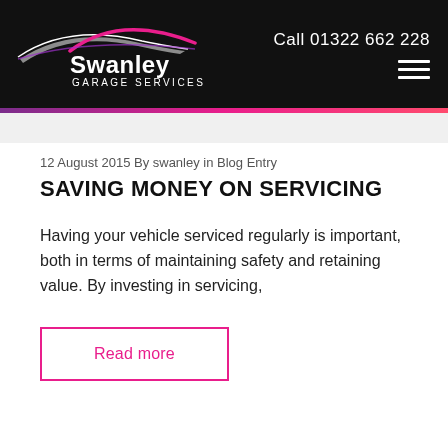[Figure (logo): Swanley Garage Services logo with stylized car arc in pink/purple on black background, white text reading 'Swanley GARAGE SERVICES']
Call 01322 662 228
12 August 2015 By swanley in Blog Entry
SAVING MONEY ON SERVICING
Having your vehicle serviced regularly is important, both in terms of maintaining safety and retaining value. By investing in servicing,
Read more